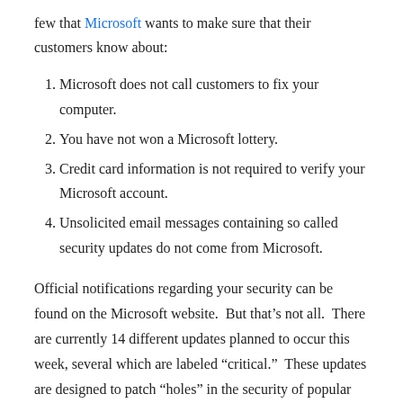few that Microsoft wants to make sure that their customers know about:
Microsoft does not call customers to fix your computer.
You have not won a Microsoft lottery.
Credit card information is not required to verify your Microsoft account.
Unsolicited email messages containing so called security updates do not come from Microsoft.
Official notifications regarding your security can be found on the Microsoft website.  But that’s not all.  There are currently 14 different updates planned to occur this week, several which are labeled “critical.”  These updates are designed to patch “holes” in the security of popular programs like Windows, Office, and Internet Explorer.  Internet Explorer will soon be updated every month instead of every other month. Security professionals seem to like this idea, “It looks like IE will be the story every month now,” said